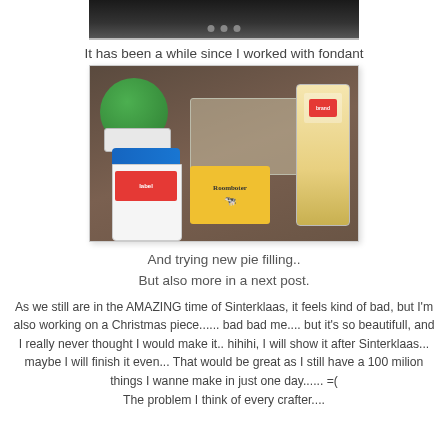[Figure (photo): Partial top of a photo showing a dark background with some shapes at top]
It has been a while since I worked with fondant
[Figure (photo): Photo of baking/cooking ingredients on a dark surface: a green-lidded container, a white container with blue lid, a yellow Roomboter butter box, a plastic tray with items, and a bag]
And trying new pie filling..
But also more in a next post.
As we still are in the AMAZING time of Sinterklaas, it feels kind of bad, but I'm also working on a Christmas piece...... bad bad me.... but it's so beautifull, and I really never thought I would make it.. hihihi, I will show it after Sinterklaas... maybe I will finish it even... That would be great as I still have a 100 milion things I wanne make in just one day...... =( The problem I think of every crafter....